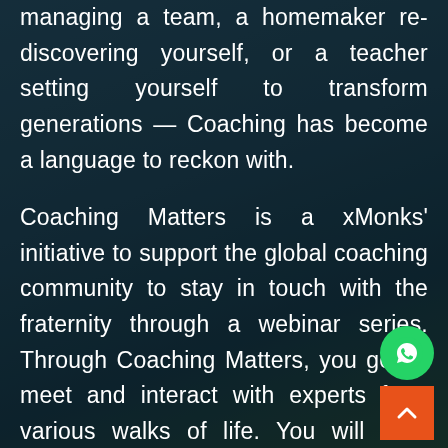managing a team, a homemaker re-discovering yourself, or a teacher setting yourself to transform generations — Coaching has become a language to reckon with.

Coaching Matters is a xMonks' initiative to support the global coaching community to stay in touch with the fraternity through a webinar series. Through Coaching Matters, you get to meet and interact with experts from various walks of life. You will hear untold wisdom, industry experience, personal expertise around